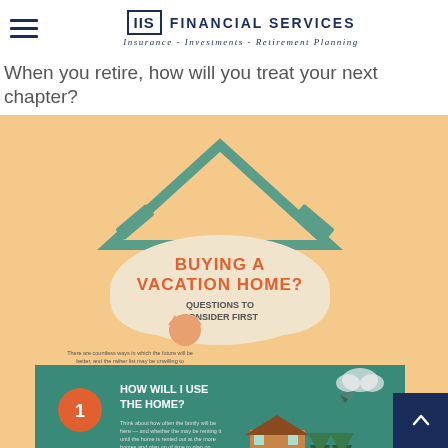IIS FINANCIAL SERVICES — Insurance - Investments - Retirement Planning
When you retire, how will you treat your next chapter?
[Figure (infographic): Infographic on orange/peach background titled 'BUYING A VACATION HOME? Questions to Consider First' showing numbered questions including '1. HOW WILL I USE THE HOME?' and '2. AM I RUSHING THIS DECISION?' with colorful illustrated panels featuring mountains, trees, and a house.]